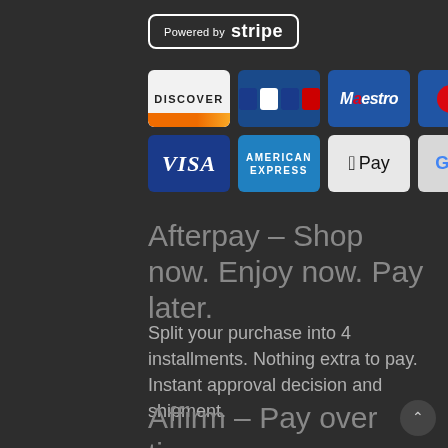[Figure (logo): Powered by Stripe badge with white border and text]
[Figure (logo): Payment method icons grid: Discover, JCB, Maestro, MasterCard (top row); Visa, American Express, Apple Pay, G Pay (bottom row)]
Afterpay – Shop now. Enjoy now. Pay later.
Split your purchase into 4 installments. Nothing extra to pay. Instant approval decision and shipment.
Affirm – Pay over time.